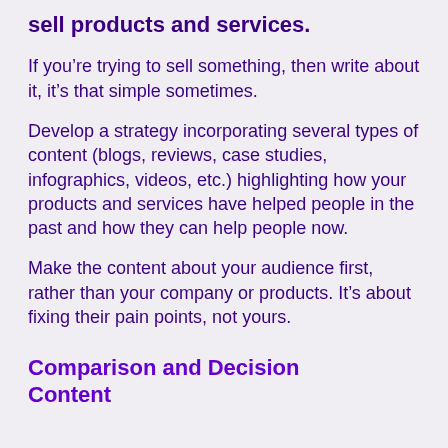sell products and services.
If you’re trying to sell something, then write about it, it’s that simple sometimes.
Develop a strategy incorporating several types of content (blogs, reviews, case studies, infographics, videos, etc.) highlighting how your products and services have helped people in the past and how they can help people now.
Make the content about your audience first, rather than your company or products. It’s about fixing their pain points, not yours.
Comparison and Decision Content